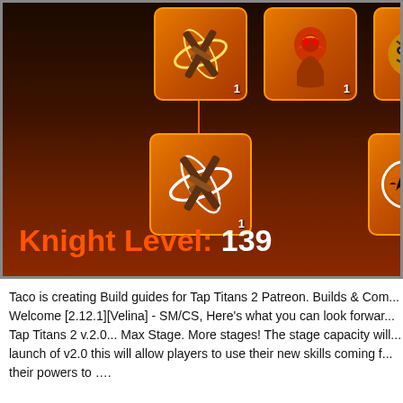[Figure (screenshot): Game screenshot from Tap Titans 2 showing skill tree icons. Top row has three orange icon boxes each showing level 1. Second row has two larger orange icon boxes also showing level 1. One icon shows crossed swords with orbital rings, others show a fire warrior, an angry face creature, a larger crossed swords with orbital rings, and an orb with a bird silhouette. At the bottom reads 'Knight Level: 139' in orange and white text on a dark orange/red gradient background.]
Taco is creating Build guides for Tap Titans 2 Patreon. Builds & Com... Welcome [2.12.1][Velina] - SM/CS, Here's what you can look forwar... Tap Titans 2 v.2.0... Max Stage. More stages! The stage capacity will... launch of v2.0 this will allow players to use their new skills coming f... their powers to ….